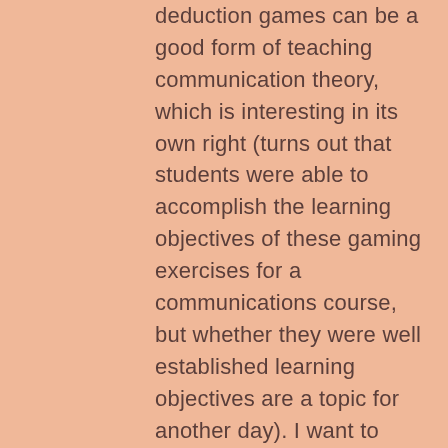deduction games can be a good form of teaching communication theory, which is interesting in its own right (turns out that students were able to accomplish the learning objectives of these gaming exercises for a communications course, but whether they were well established learning objectives are a topic for another day). I want to focus on the science behind small group communication theory to better understand the social dynamics occurring throughout the gameplay. And perhaps it can help in tactics for being successful in your own particular goal of these games, whether you are a hero or a villain.
Now, social deduction games, as stated, "involve hidden roles and